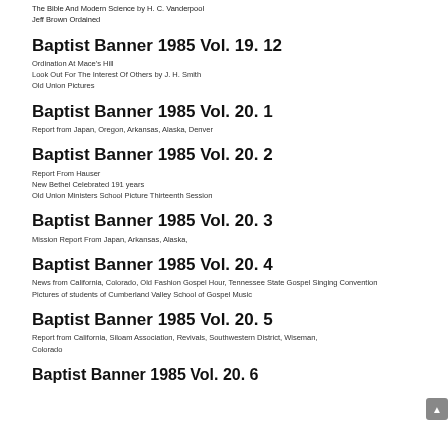The Bible And Modern Science by H. C. Vanderpool
Jeff Brown Ordained
Baptist Banner 1985 Vol. 19. 12
Ordination At Mace's Hill
Look Out For The Interest Of Others by J. H. Smith
Old Union Pictures
Baptist Banner 1985 Vol. 20. 1
Report from Japan, Oregon, Arkansas, Alaska, Denver
Baptist Banner 1985 Vol. 20. 2
Report From Hauser
New Bethel Celebrated 191 years
Old Union Ministers School Picture Thirteenth Session
Baptist Banner 1985 Vol. 20. 3
Mission Report From Japan, Arkansas, Alaska,
Baptist Banner 1985 Vol. 20. 4
News from California, Colorado, Old Fashion Gospel Hour, Tennessee State Gospel Singing Convention
Pictures of students of Cumberland Valley School of Gospel Music
Baptist Banner 1985 Vol. 20. 5
Report from California, Siloam Association, Revivals, Southwestern District, Wiseman, Colorado
Baptist Banner 1985 Vol. 20. 6